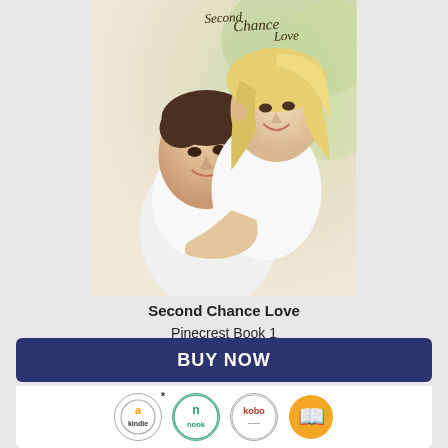[Figure (photo): Book cover for 'Second Chance Love' — Pinecrest Book 1 by Merrillee Whren. Shows a smiling couple, woman with blonde hair hugging a dark-haired man from behind, both in white, on a light outdoor background. Title in cursive script at top.]
Second Chance Love
Pinecrest Book 1
by Merrillee Whren
Indie Published
Contemporary Romance: Christian Romance
April 28, 2020
Available in: e-Book
BUY NOW
[Figure (logo): Retailer icons: Kindle (Amazon), Nook (Barnes & Noble), Kobo, Scribd (orange book icon)]